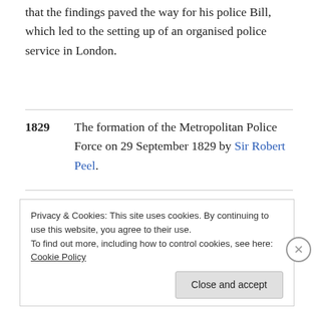that the findings paved the way for his police Bill, which led to the setting up of an organised police service in London.
1829   The formation of the Metropolitan Police Force on 29 September 1829 by Sir Robert Peel.
[Figure (screenshot): Advertisement banner: 'The Platform Where WordPress Works Best' with WordPress in blue]
Privacy & Cookies: This site uses cookies. By continuing to use this website, you agree to their use.
To find out more, including how to control cookies, see here: Cookie Policy
Close and accept